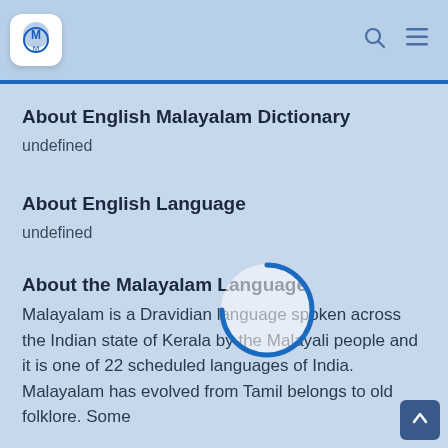[Figure (logo): App logo with M letters in blue on white rounded square, navigation bar with search and menu icons]
About English Malayalam Dictionary
undefined
About English Language
undefined
About the Malayalam Language
Malayalam is a Dravidian language spoken across the Indian state of Kerala by the Malayali people and it is one of 22 scheduled languages of India. Malayalam has evolved from Tamil belongs to old folklore. Some